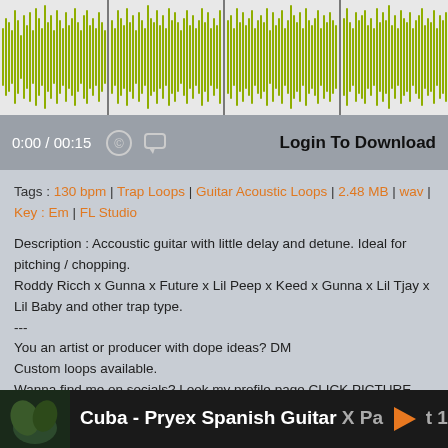[Figure (other): Audio waveform visualization in yellow-green color on light background with dark vertical separator lines]
0:00 / 00:15  [copyright icon] [comment icon]  Login To Download
Tags : 130 bpm | Trap Loops | Guitar Acoustic Loops | 2.48 MB | wav | Key : Em | FL Studio
Description : Accoustic guitar with little delay and detune. Ideal for pitching / chopping.
Roddy Ricch x Gunna x Future x Lil Peep x Keed x Gunna x Lil Tjay x Lil Baby and other trap type.
---
You an artist or producer with dope ideas? DM
Custom loops available.
Wanna find me on socials? Look my profile page CLICK PICTURE and lets make fire together!
Need MIDI? Hit me up on IG i got 180+ midi pack!
Show me your beats made with this loop.
Cuba - Pryex Spanish Guitar X Part 1 Of